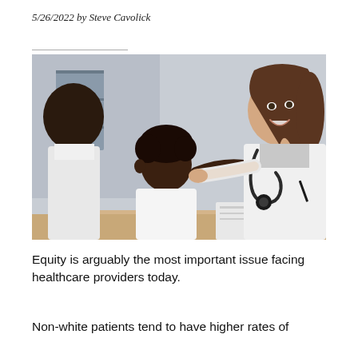5/26/2022 by Steve Cavolick
[Figure (photo): A smiling female doctor in a white coat with a stethoscope reaching toward a young child patient, with the child's parent seated beside them in a clinical setting.]
Equity is arguably the most important issue facing healthcare providers today.
Non-white patients tend to have higher rates of